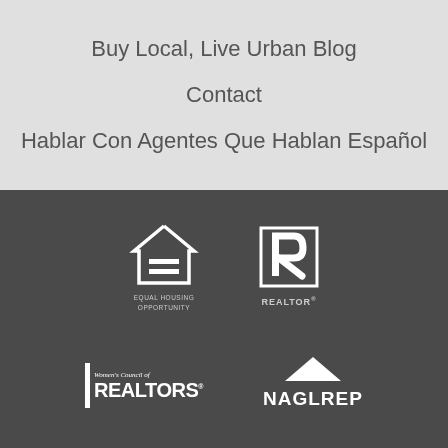Buy Local, Live Urban Blog
Contact
Hablar Con Agentes Que Hablan Español
[Figure (logo): Equal Housing Opportunity logo — house outline with equals sign inside, text EQUAL HOUSING OPPORTUNITY below]
[Figure (logo): REALTOR logo — stylized R in a rectangle, text REALTOR with registered mark below]
[Figure (logo): Women's Council of REALTORS logo — vertical bar with Women's Council of REALTORS text]
[Figure (logo): NAGLREP logo — mountain/chevron shape above NAGLREP text]